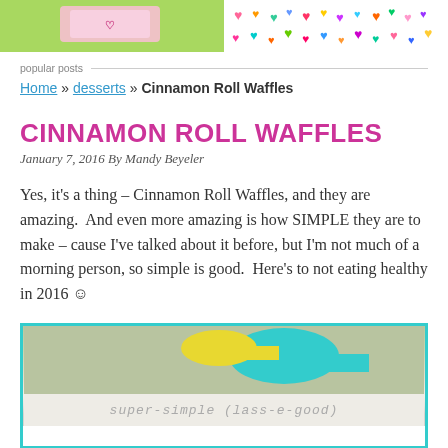[Figure (photo): Two partial images at top: left shows a pink gift/card on green background, right shows colorful hearts pattern on white background]
popular posts
Home » desserts » Cinnamon Roll Waffles
CINNAMON ROLL WAFFLES
January 7, 2016 By Mandy Beyeler
Yes, it's a thing – Cinnamon Roll Waffles, and they are amazing.  And even more amazing is how SIMPLE they are to make – cause I've talked about it before, but I'm not much of a morning person, so simple is good.  Here's to not eating healthy in 2016 ☺
[Figure (photo): Photo of cinnamon roll waffles with teal and yellow utensils, with decorative text strip showing cursive script, inside a teal border frame. Watermark text CINNAMON ROLL WAFFLES at bottom.]